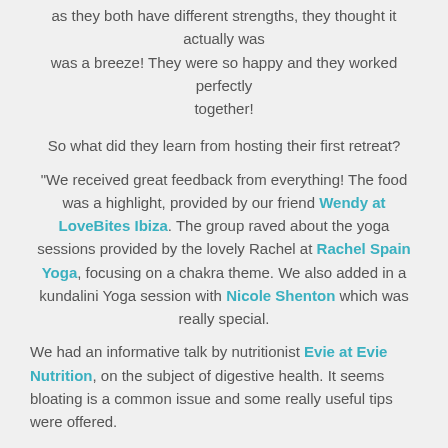as they both have different strengths, they thought it actually was was a breeze! They were so happy and they worked perfectly together!
So what did they learn from hosting their first retreat?
“We received great feedback from everything! The food was a highlight, provided by our friend Wendy at LoveBites Ibiza.  The group raved about the yoga sessions provided by the lovely Rachel at Rachel Spain Yoga, focusing on a chakra theme. We also added in a kundalini Yoga session with Nicole Shenton which was really special.
We had an informative talk by nutritionist Evie at Evie Nutrition, on the subject of digestive health.  It seems bloating is a common issue and some really useful tips were offered.
We held a talk on hormone health through the various ages of womanhood hosted by Cyd Jewellery. Plus a motivating talk on self love by Lydia Kimmerling which was a fascinating insight into the impact of negative thoughts about ourselves. This was a lightbulb moment for many!
On top of this daily pilates and outdoor workouts by Natalie at Love Pilates Ibiza, afternoon massages in the cosy tipi provided by